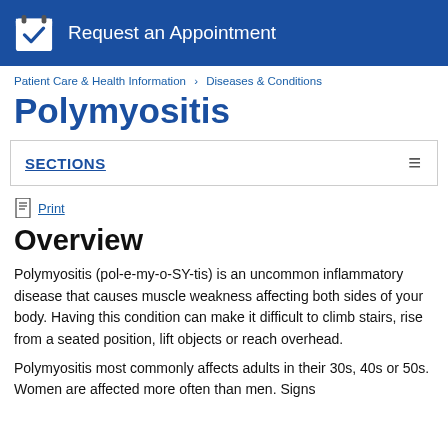[Figure (other): Blue banner with calendar/checkmark icon and text 'Request an Appointment']
Patient Care & Health Information > Diseases & Conditions
Polymyositis
SECTIONS
Print
Overview
Polymyositis (pol-e-my-o-SY-tis) is an uncommon inflammatory disease that causes muscle weakness affecting both sides of your body. Having this condition can make it difficult to climb stairs, rise from a seated position, lift objects or reach overhead.
Polymyositis most commonly affects adults in their 30s, 40s or 50s. Women are affected more often than men. Signs